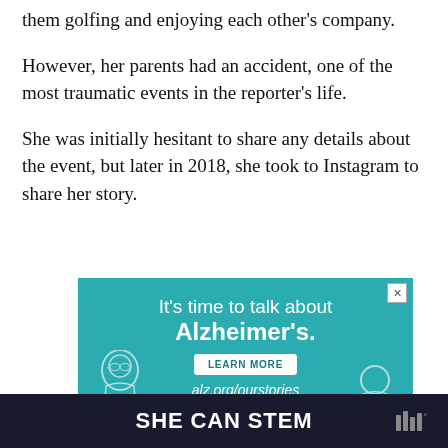them golfing and enjoying each other's company.
However, her parents had an accident, one of the most traumatic events in the reporter's life.
She was initially hesitant to share any details about the event, but later in 2018, she took to Instagram to share her story.
[Figure (other): Advertisement banner for Alzheimer's awareness. Teal background with text 'It's time to talk about Alzheimer's.' with a Learn More button and alz.org/ourstories URL, and illustrated elderly figure on left side.]
SHE CAN STEM